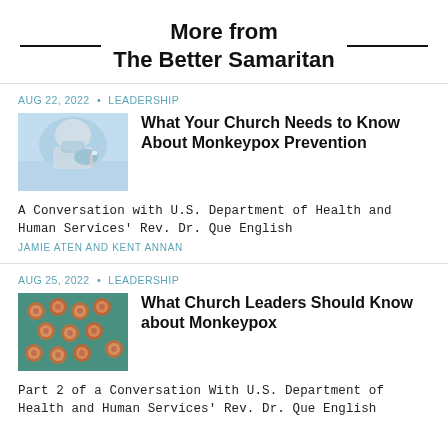More from The Better Samaritan
AUG 22, 2022 • LEADERSHIP
[Figure (photo): Photo of a person in a lab coat or medical setting, blurred background, close-up]
What Your Church Needs to Know About Monkeypox Prevention
A Conversation with U.S. Department of Health and Human Services' Rev. Dr. Que English
JAMIE ATEN AND KENT ANNAN
AUG 25, 2022 • LEADERSHIP
[Figure (photo): Photo showing multiple monkeypox lesions/bumps on teal/blue background]
What Church Leaders Should Know about Monkeypox
Part 2 of a Conversation With U.S. Department of Health and Human Services' Rev. Dr. Que English